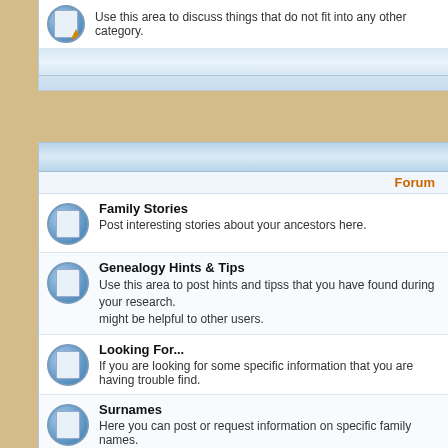[Figure (screenshot): Forum icon with pencil on document]
Use this area to discuss things that do not fit into any other category.
Forum
Family Stories - Post interesting stories about your ancestors here.
Genealogy Hints & Tips - Use this area to post hints and tipss that you have found during your research. might be helpful to other users.
Looking For... - If you are looking for some specific information that you are having trouble find.
Surnames - Here you can post or request information on specific family names.
Delete all board cookies | The team
In total there are 32 users online :: 0 registered, 0 hidden and 32 guests. Most users ever online was 259 on Tue Jun 02, 2020 1:59 pm